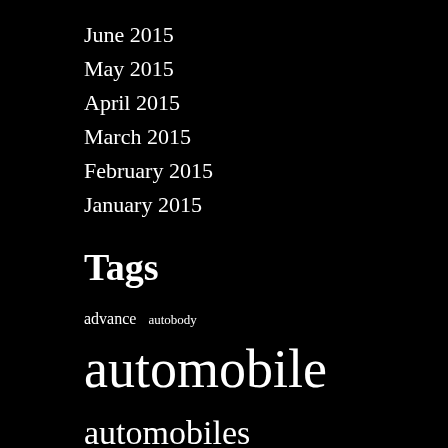June 2015
May 2015
April 2015
March 2015
February 2015
January 2015
Tags
advance autobody automobile automobiles automotive close collision components concepts contest coverage design efficiency elements engine engineering finest greatest group ideas improve insurance machine mechanic modification motor online parts performance physique